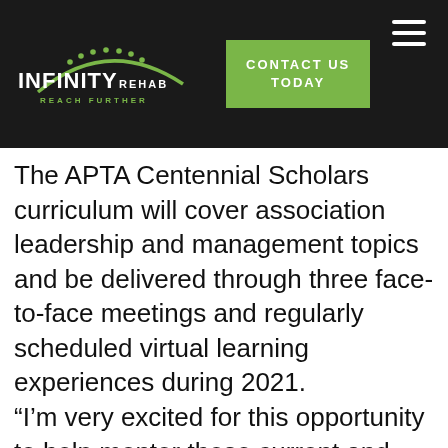[Figure (logo): Infinity Rehab logo with green arc and dots, white text 'INFINITY REHAB', tagline 'REACH FURTHER']
[Figure (other): Green 'CONTACT US TODAY' button in header]
The APTA Centennial Scholars curriculum will cover association leadership and management topics and be delivered through three face-to-face meetings and regularly scheduled virtual learning experiences during 2021.
“I’m very excited for this opportunity to help mentor these current and future leaders within the PT profession,” says